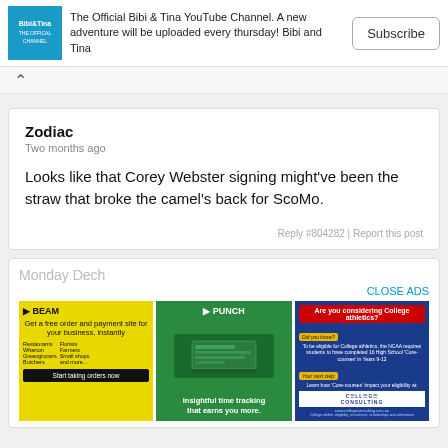[Figure (screenshot): Bibi and Tina YouTube channel banner with logo, description text, and Subscribe button]
The Official Bibi & Tina YouTube Channel. A new adventure will be uploaded every thursday! Bibi and Tina
Zodiac
Two months ago
Looks like that Corey Webster signing might've been the straw that broke the camel's back for ScoMo.
Reply #804282 | Report this post
Monday Dech
CLOSE ADS
[Figure (screenshot): BEAM ad - yellow background, get a free order and payment site for your business, instantly]
[Figure (screenshot): PUNCH ad - green background, insightful time tracking that earns you more]
[Figure (screenshot): College Consulting ad - blue background, Are you considering College athletics?]